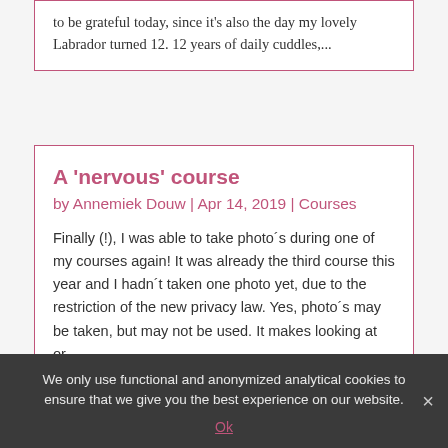to be grateful today, since it's also the day my lovely Labrador turned 12. 12 years of daily cuddles,...
A 'nervous' course
by Annemiek Douw | Apr 14, 2019 | Courses
Finally (!), I was able to take photo's during one of my courses again! It was already the third course this year and I hadn't taken one photo yet, due to the restriction of the new privacy law. Yes, photo's may be taken, but may not be used. It makes looking at or...
We only use functional and anonymized analytical cookies to ensure that we give you the best experience on our website.
Ok